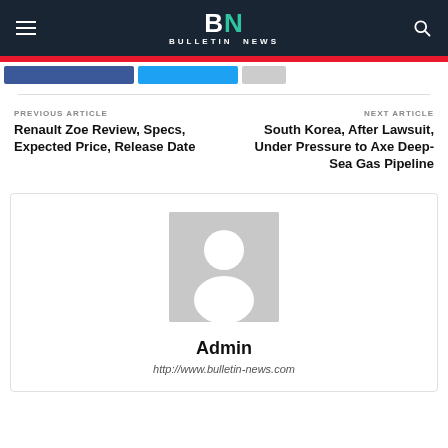BN BULLETIN NEWS
PREVIOUS ARTICLE
Renault Zoe Review, Specs, Expected Price, Release Date
NEXT ARTICLE
South Korea, After Lawsuit, Under Pressure to Axe Deep-Sea Gas Pipeline
[Figure (illustration): Default user avatar placeholder — gray square with white silhouette of a person]
Admin
http://www.bulletin-news.com